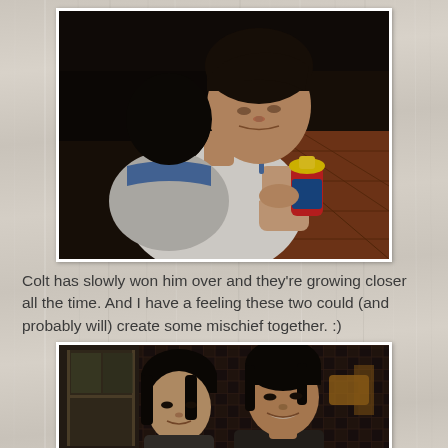[Figure (photo): Overhead/angled photo of a young Asian man in a white sleeveless shirt holding a child with dark hair wearing a blue-trimmed grey top; the child holds a red and yellow sippy cup; terracotta tile floor visible in background]
Colt has slowly won him over and they're growing closer all the time. And I have a feeling these two could (and probably will) create some mischief together. :)
[Figure (photo): Indoor photo of two young Asian individuals smiling at camera; dark plaid fabric and a window visible in the background with warm ambient lighting]